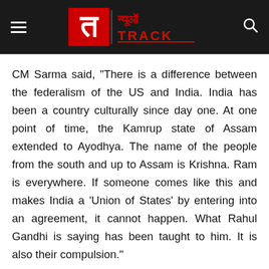[Figure (logo): News Track logo with hamburger menu on left and search icon on right, on dark background header bar]
CM Sarma said, "There is a difference between the federalism of the US and India. India has been a country culturally since day one. At one point of time, the Kamrup state of Assam extended to Ayodhya. The name of the people from the south and up to Assam is Krishna. Ram is everywhere. If someone comes like this and makes India a 'Union of States' by entering into an agreement, it cannot happen. What Rahul Gandhi is saying has been taught to him. It is also their compulsion."
What will happen in Bihar in the next 72 hours? CM